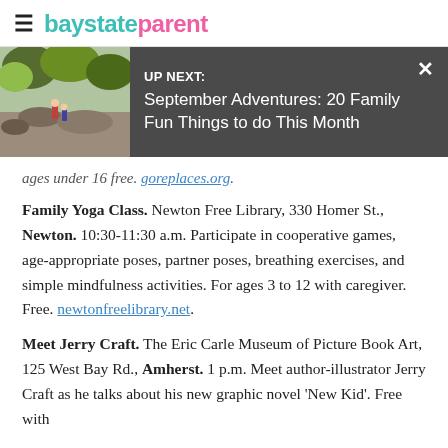baystateparent
[Figure (screenshot): UP NEXT banner overlay with outdoor photo thumbnail on left, dark gray background, title 'September Adventures: 20 Family Fun Things to do This Month', and X close button]
ages under 16 free. goreplaces.org.
Family Yoga Class. Newton Free Library, 330 Homer St., Newton. 10:30-11:30 a.m. Participate in cooperative games, age-appropriate poses, partner poses, breathing exercises, and simple mindfulness activities. For ages 3 to 12 with caregiver. Free. newtonfreelibrary.net.
Meet Jerry Craft. The Eric Carle Museum of Picture Book Art, 125 West Bay Rd., Amherst. 1 p.m. Meet author-illustrator Jerry Craft as he talks about his new graphic novel 'New Kid'. Free with